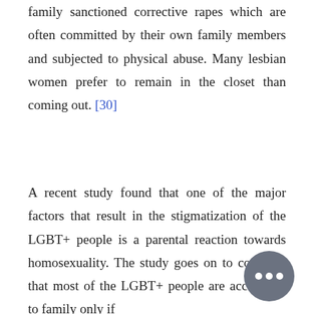family sanctioned corrective rapes which are often committed by their own family members and subjected to physical abuse. Many lesbian women prefer to remain in the closet than coming out. [30]
A recent study found that one of the major factors that result in the stigmatization of the LGBT+ people is a parental reaction towards homosexuality. The study goes on to conclude that most of the LGBT+ people are acceptable to family only if